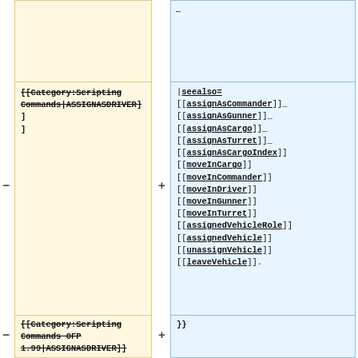[Figure (screenshot): A diff view showing two columns. Left column (yellow, minus) contains wiki markup with strikethrough text for [[Category:Scripting Commands|ASSIGNASDRIVER]] and [[Category:Scripting Commands OFP 1.99|ASSIGNASDRIVER]]. Right column (blue, plus) contains wiki markup seealso links including assignAsCommander, assignAsGunner, assignAsCargo, assignAsTurret, assignAsCargoIndex, moveInCargo, moveInCommander, moveInDriver, moveInGunner, moveInTurret, assignedVehicleRole, assignedVehicle, unassignVehicle, leaveVehicle, and closing braces }}]